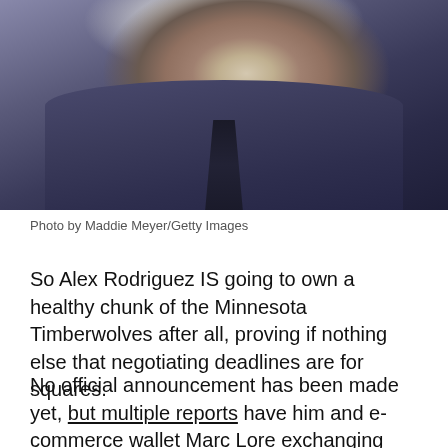[Figure (photo): A man in a dark navy/blue suit and tie wearing sunglasses, photographed from a low angle. The image shows his face and upper body.]
Photo by Maddie Meyer/Getty Images
So Alex Rodriguez IS going to own a healthy chunk of the Minnesota Timberwolves after all, proving if nothing else that negotiating deadlines are for squares.
No official announcement has been made yet, but multiple reports have him and e-commerce wallet Marc Lore exchanging $1.5 billion for the keys to the